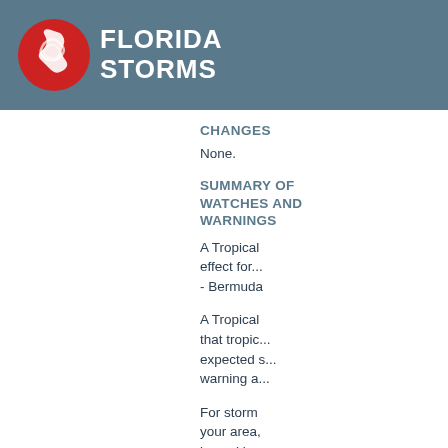FLORIDA STORMS
CHANGES
None.
SUMMARY OF WATCHES AND WARNINGS
A Tropical ... effect for...
- Bermuda
A Tropical ... that tropic... expected s... warning a...
For storm ... your area, ... issued by y... meteorolo...